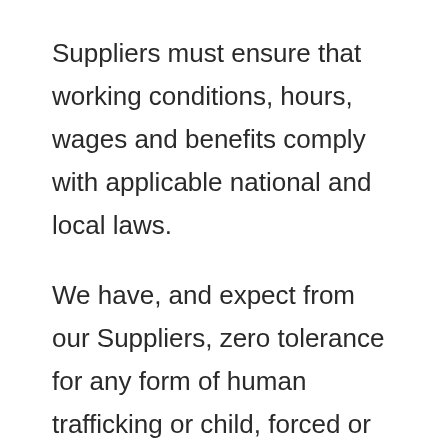Suppliers must ensure that working conditions, hours, wages and benefits comply with applicable national and local laws.
We have, and expect from our Suppliers, zero tolerance for any form of human trafficking or child, forced or compulsory labour. Compliance with all applicable human rights (including the Modern Slavery Act 2015) and employment laws by our Suppliers in the jurisdictions they work in is